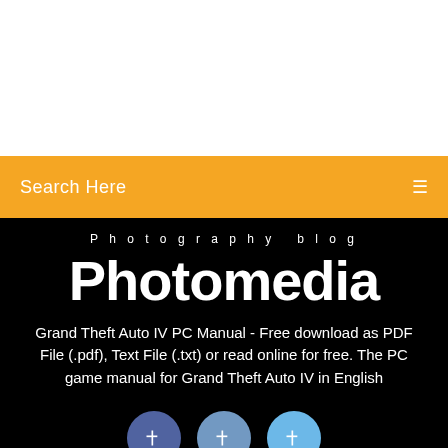[Figure (screenshot): White blank area at top of page]
Search Here
Photography blog
Photomedia
Grand Theft Auto IV PC Manual - Free download as PDF File (.pdf), Text File (.txt) or read online for free. The PC game manual for Grand Theft Auto IV in English
[Figure (other): Three social media icon buttons in blue circles]